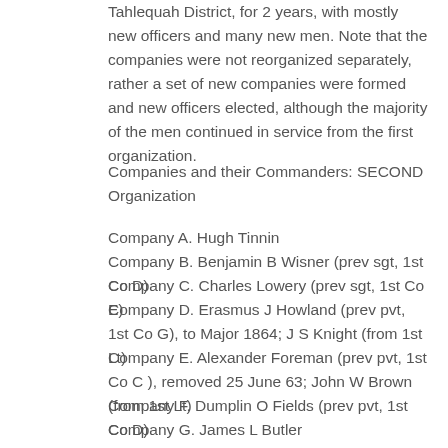Tahlequah District, for 2 years, with mostly new officers and many new men. Note that the companies were not reorganized separately, rather a set of new companies were formed and new officers elected, although the majority of the men continued in service from the first organization.
Companies and their Commanders: SECOND Organization
Company A. Hugh Tinnin
Company B. Benjamin B Wisner (prev sgt, 1st Co D)
Company C. Charles Lowery (prev sgt, 1st Co E)
Company D. Erasmus J Howland (prev pvt, 1st Co G), to Major 1864; J S Knight (from 1st Lt)
Company E. Alexander Foreman (prev pvt, 1st Co C ), removed 25 June 63; John W Brown (from 1st Lt)
Company F. Dumplin O Fields (prev pvt, 1st Co D)
Company G. James L Butler
Company H. John Spears, to Frye's – Scales' Battalion,